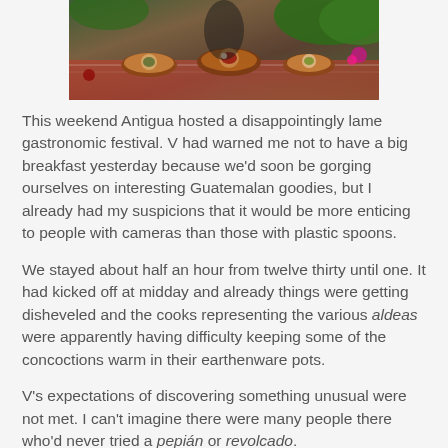[Figure (photo): Photo of a table spread with Guatemalan food dishes, colorful decorations and greenery in the background]
This weekend Antigua hosted a disappointingly lame gastronomic festival. V had warned me not to have a big breakfast yesterday because we'd soon be gorging ourselves on interesting Guatemalan goodies, but I already had my suspicions that it would be more enticing to people with cameras than those with plastic spoons.
We stayed about half an hour from twelve thirty until one. It had kicked off at midday and already things were getting disheveled and the cooks representing the various aldeas were apparently having difficulty keeping some of the concoctions warm in their earthenware pots.
V's expectations of discovering something unusual were not met. I can't imagine there were many people there who'd never tried a pepián or revolcado.
Given the corporate sponsorship, the prices were a bit silly